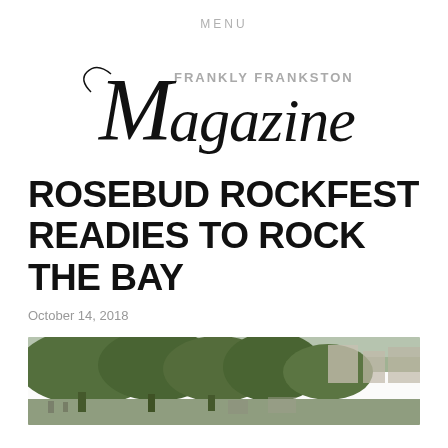MENU
[Figure (logo): Frankly Frankston Magazine logo — script/cursive 'Magazine' text with 'FRANKLY FRANKSTON' in small caps above]
ROSEBUD ROCKFEST READIES TO ROCK THE BAY
October 14, 2018
[Figure (photo): Outdoor crowd/street scene with trees and buildings in background, overcast sky]